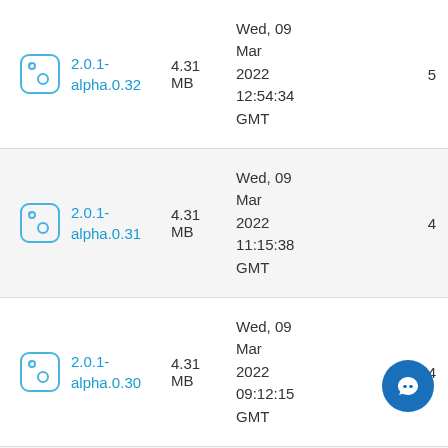| Icon | Version | Size | Date | Count |
| --- | --- | --- | --- | --- |
| [icon] | 2.0.1-alpha.0.32 | 4.31 MB | Wed, 09 Mar 2022 12:54:34 GMT | 5 |
| [icon] | 2.0.1-alpha.0.31 | 4.31 MB | Wed, 09 Mar 2022 11:15:38 GMT | 4 |
| [icon] | 2.0.1-alpha.0.30 | 4.31 MB | Wed, 09 Mar 2022 09:12:15 GMT | 4 |
|  |  |  | Tue, 08 |  |